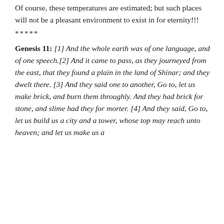Of course, these temperatures are estimated; but such places will not be a pleasant environment to exist in for eternity!!!
*****
Genesis 11: [1] And the whole earth was of one language, and of one speech.[2] And it came to pass, as they journeyed from the east, that they found a plain in the land of Shinar; and they dwelt there. [3] And they said one to another, Go to, let us make brick, and burn them throughly. And they had brick for stone, and slime had they for morter. [4] And they said, Go to, let us build us a city and a tower, whose top may reach unto heaven; and let us make us a